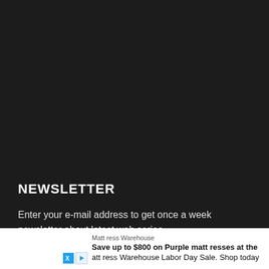NEWSLETTER
Enter your e-mail address to get once a week newsletter about latest web series
[Figure (other): Advertisement banner for Mattress Warehouse showing text: 'Mattress Warehouse | Save up to $800 on Purple mattresses at the Mattress Warehouse Labor Day Sale. Shop today' with X (Twitter) and play button icons on left side.]